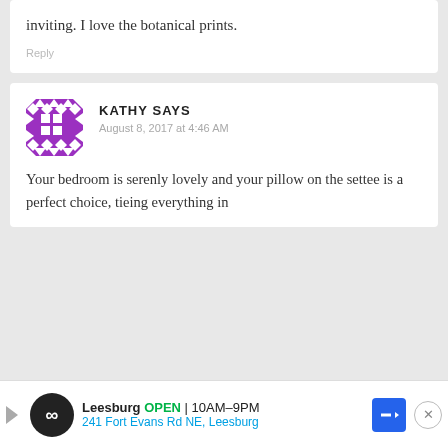inviting. I love the botanical prints.
Reply
KATHY SAYS
August 8, 2017 at 4:46 AM
[Figure (illustration): Purple and white geometric quilting pattern avatar for user Kathy]
Your bedroom is serenly lovely and your pillow on the settee is a perfect choice, tieing everything in
Leesburg OPEN 10AM–9PM 241 Fort Evans Rd NE, Leesburg